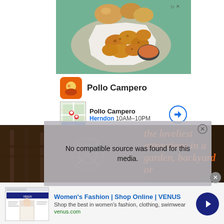[Figure (photo): Pollo Campero advertisement showing fried chicken pieces on a plate with dipping sauce and bread rolls on a teal background]
Pollo Campero
Pollo Campero
Herndon 10AM-10PM
No compatible source was found for this media.
the loveliest attractions in a garden, backyard or
[Figure (photo): Women's Fashion VENUS ad with model in white dress]
Women's Fashion | Shop Online | VENUS
Shop the best in women's fashion, clothing, swimwear
venus.com